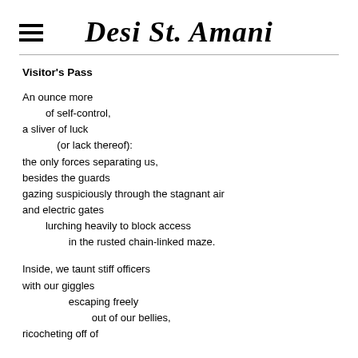Desi St. Amani
Visitor's Pass
An ounce more
        of self-control,
a sliver of luck
            (or lack thereof):
the only forces separating us,
besides the guards
gazing suspiciously through the stagnant air
and electric gates
        lurching heavily to block access
                in the rusted chain-linked maze.

Inside, we taunt stiff officers
with our giggles
                escaping freely
                        out of our bellies,
ricocheting off of